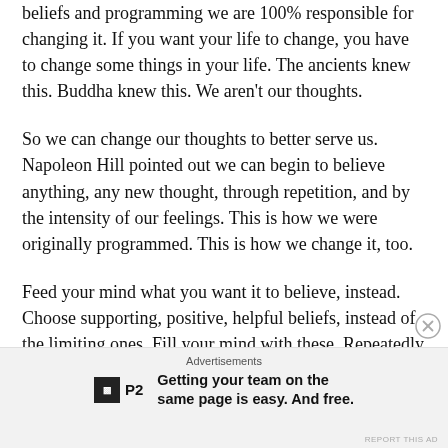beliefs and programming we are 100% responsible for changing it. If you want your life to change, you have to change some things in your life. The ancients knew this. Buddha knew this. We aren't our thoughts.
So we can change our thoughts to better serve us. Napoleon Hill pointed out we can begin to believe anything, any new thought, through repetition, and by the intensity of our feelings. This is how we were originally programmed. This is how we change it, too.
Feed your mind what you want it to believe, instead. Choose supporting, positive, helpful beliefs, instead of the limiting ones. Fill your mind with these. Repeatedly affirm with strong emotion, daily. Control your thinking. Manage the process and you become free.
Advertisements
Getting your team on the same page is easy. And free.